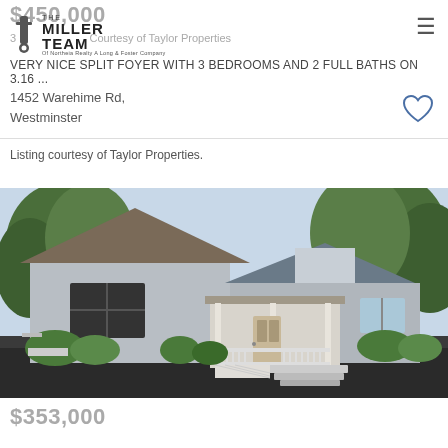THE MILLER TEAM Of Northeia Realty A Long & Foster Company
$450,000
3 ... Courtesy of Taylor Properties
VERY NICE SPLIT FOYER WITH 3 BEDROOMS AND 2 FULL BATHS ON 3.16 ...
1452 Warehime Rd, Westminster
Listing courtesy of Taylor Properties.
[Figure (photo): Exterior photo of a gray split-foyer house with white porch, white railings and steps, surrounded by green trees and bushes]
$353,000